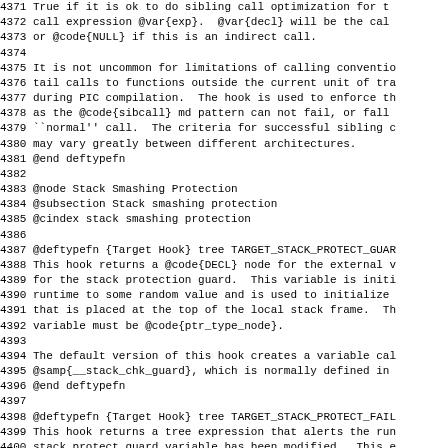4371 True if it is ok to do sibling call optimization for t
4372 call expression @var{exp}.  @var{decl} will be the cal
4373 or @code{NULL} if this is an indirect call.
4374
4375 It is not uncommon for limitations of calling conventio
4376 tail calls to functions outside the current unit of tra
4377 during PIC compilation.  The hook is used to enforce th
4378 as the @code{sibcall} md pattern can not fail, or fall
4379 ``normal'' call.  The criteria for successful sibling c
4380 may vary greatly between different architectures.
4381 @end deftypefn
4382
4383 @node Stack Smashing Protection
4384 @subsection Stack smashing protection
4385 @cindex stack smashing protection
4386
4387 @deftypefn {Target Hook} tree TARGET_STACK_PROTECT_GUAR
4388 This hook returns a @code{DECL} node for the external v
4389 for the stack protection guard.  This variable is initi
4390 runtime to some random value and is used to initialize
4391 that is placed at the top of the local stack frame.  Th
4392 variable must be @code{ptr_type_node}.
4393
4394 The default version of this hook creates a variable cal
4395 @samp{__stack_chk_guard}, which is normally defined in
4396 @end deftypefn
4397
4398 @deftypefn {Target Hook} tree TARGET_STACK_PROTECT_FAIL
4399 This hook returns a tree expression that alerts the run
4400 stack protect guard variable has been modified.  This e
4401 involve a call to a @code{noreturn} function.
4402